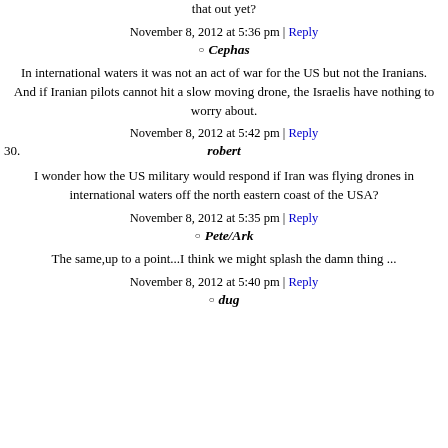that out yet?
November 8, 2012 at 5:36 pm | Reply
Cephas
In international waters it was not an act of war for the US but not the Iranians. And if Iranian pilots cannot hit a slow moving drone, the Israelis have nothing to worry about.
November 8, 2012 at 5:42 pm | Reply
30. robert
I wonder how the US military would respond if Iran was flying drones in international waters off the north eastern coast of the USA?
November 8, 2012 at 5:35 pm | Reply
Pete/Ark
The same,up to a point...I think we might splash the damn thing ...
November 8, 2012 at 5:40 pm | Reply
dug